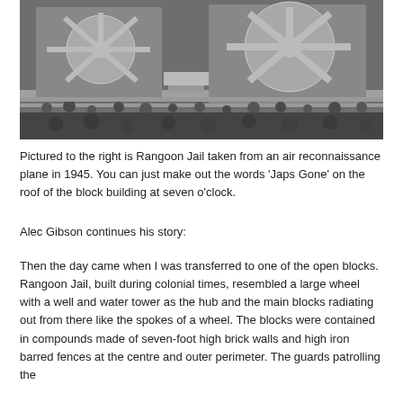[Figure (photo): Aerial black-and-white reconnaissance photograph of Rangoon Jail taken in 1945, showing the prison's spoke-wheel layout with radiating cell blocks from a central hub.]
Pictured to the right is Rangoon Jail taken from an air reconnaissance plane in 1945. You can just make out the words 'Japs Gone' on the roof of the block building at seven o'clock.
Alec Gibson continues his story:
Then the day came when I was transferred to one of the open blocks. Rangoon Jail, built during colonial times, resembled a large wheel with a well and water tower as the hub and the main blocks radiating out from there like the spokes of a wheel. The blocks were contained in compounds made of seven-foot high brick walls and high iron barred fences at the centre and outer perimeter. The guards patrolling the